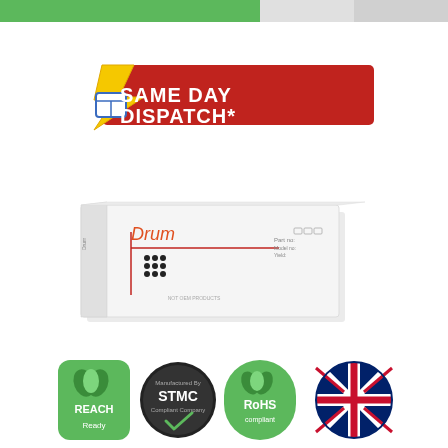[Figure (infographic): Top navigation bar with green section and two gray sections]
[Figure (infographic): Same Day Dispatch* banner with lightning bolt and box icon on red background]
[Figure (photo): White cardboard drum cartridge box with 'Drum' label and dot matrix icon]
[Figure (infographic): Four certification badges: REACH Ready (green), STMC Compliant Company (dark), RoHS Compliant (green), UK flag (round)]